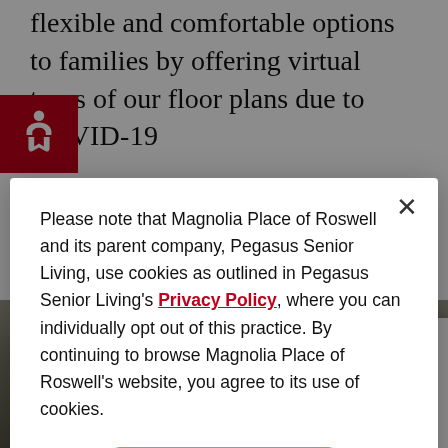flexible and comfortable options to families by offering virtual tours of our floor plans due to COVID-19
[Figure (screenshot): Cookie consent modal dialog for Magnolia Place of Roswell website, with Privacy Policy link and Accept button]
Please note that Magnolia Place of Roswell and its parent company, Pegasus Senior Living, use cookies as outlined in Pegasus Senior Living's Privacy Policy, where you can individually opt out of this practice. By continuing to browse Magnolia Place of Roswell's website, you agree to its use of cookies.
Accept
[Figure (screenshot): Bottom portion of webpage showing a room image and chat widget with 'Community Assis' and 'Magnolia Place o' text, with a stylized bird logo and green online indicator dot]